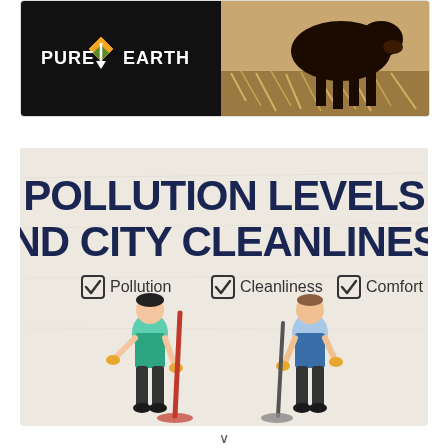[Figure (logo): Pure Earth logo on black background with orange diamond/arrow icon, alongside a photo of cows/cattle in the right portion]
[Figure (infographic): Infographic titled 'POLLUTION LEVELS AND CITY CLEANLINESS' with three checkbox items: Pollution, Cleanliness, Comfort, and two illustrated cleaning workers at the bottom]